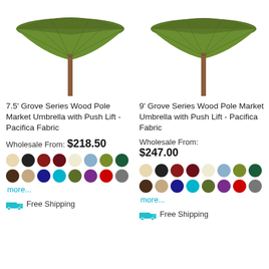[Figure (photo): Green patio market umbrella with wood pole, 7.5 ft, partially cropped at top]
7.5' Grove Series Wood Pole Market Umbrella with Push Lift -Pacifica Fabric
Wholesale From: $218.50
[Figure (infographic): Color swatches: beige, black, dark red, maroon, cream, light blue, olive, dark green, brown, tan, navy, cyan, dark olive, purple, red, gray, more...]
Free Shipping
[Figure (photo): Green patio market umbrella with wood pole, 9 ft, partially cropped at top]
9' Grove Series Wood Pole Market Umbrella with Push Lift - Pacifica Fabric
Wholesale From: $247.00
[Figure (infographic): Color swatches: beige, black, dark red, maroon, cream, light blue, olive, dark green, brown, tan, navy, cyan, dark olive, purple, red, gray, more...]
Free Shipping